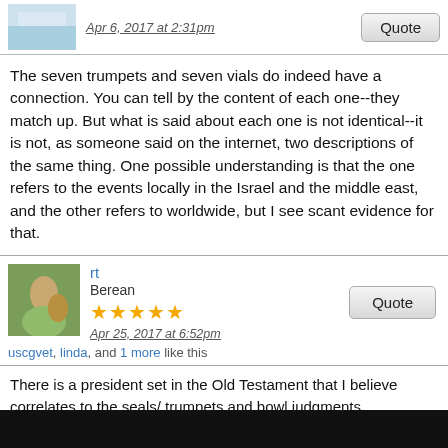Apr 6, 2017 at 2:31pm
The seven trumpets and seven vials do indeed have a connection. You can tell by the content of each one--they match up. But what is said about each one is not identical--it is not, as someone said on the internet, two descriptions of the same thing. One possible understanding is that the one refers to the events locally in the Israel and the middle east, and the other refers to worldwide, but I see scant evidence for that.
rt
Berean
★★★★★
Apr 25, 2017 at 6:52pm
uscgvet, linda, and 1 more like this
There is a president set in the Old Testament that I believe correlates to the seals/ trumpets and bowl judgments.
Read Leviticus 26:14-42  www.blueletterbible.org/nasb/lev/26/14/s_116014
You will note that this is a precedent of God for bringing about punishment and judgement upon Israel for their disobedience. You will also notice that within this passage you can find reference to the first four seals. Verse 21- the Beasts (which I believe are the conquerors of the first seal horse, and